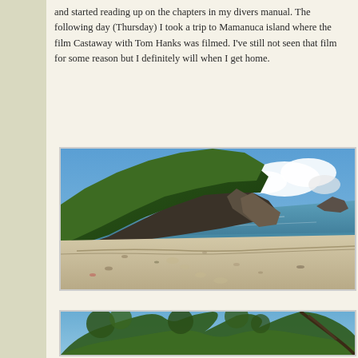and started reading up on the chapters in my divers manual. The following day (Thursday) I took a trip to Mamanuca island where the film Castaway with Tom Hanks was filmed. I've still not seen that film for some reason but I definitely will when I get home.
[Figure (photo): A tropical beach scene with a large rocky hill covered in dense green vegetation on the left, white sandy beach in the foreground with shells and debris, turquoise ocean water in the middle distance, blue sky with white clouds, and a rocky outcrop visible in the far distance on the right.]
[Figure (photo): A tropical scene viewed from beneath a canopy of trees with green leaves and branches silhouetted against a bright blue sky.]